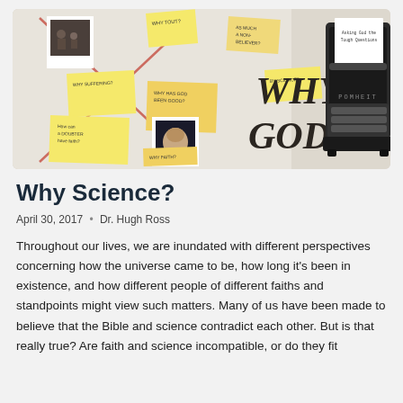[Figure (illustration): Hero banner image for 'Why God?' sermon series. Shows a corkboard with sticky notes and polaroid photos pinned to it. Notes have questions like 'Why Science?', 'Why Suffering?', 'Why Faith?', 'How can a doubter have faith?', 'Why has God been good?'. In the center, large typewriter-style text reads 'WHY GOD?'. On the right side is a black vintage typewriter. A paper in the typewriter reads 'Asking God the Tough Questions'. Red X marks are drawn across some notes.]
Why Science?
April 30, 2017 • Dr. Hugh Ross
Throughout our lives, we are inundated with different perspectives concerning how the universe came to be, how long it's been in existence, and how different people of different faiths and standpoints might view such matters. Many of us have been made to believe that the Bible and science contradict each other. But is that really true? Are faith and science incompatible, or do they fit